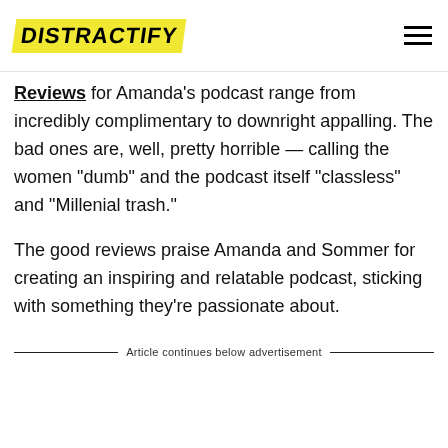DISTRACTIFY
Reviews for Amanda's podcast range from incredibly complimentary to downright appalling. The bad ones are, well, pretty horrible — calling the women "dumb" and the podcast itself "classless" and "Millenial trash."
The good reviews praise Amanda and Sommer for creating an inspiring and relatable podcast, sticking with something they're passionate about.
Article continues below advertisement